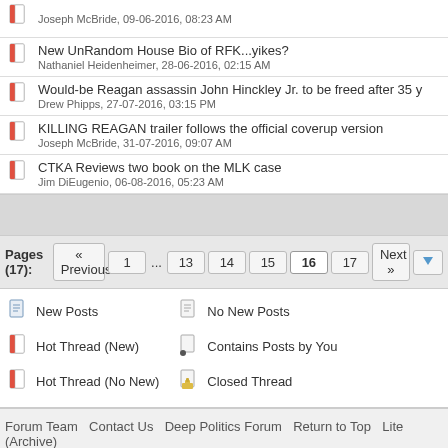|  | Thread |
| --- | --- |
| [icon] | Joseph McBride, 09-06-2016, 08:23 AM |
| [icon] | New UnRandom House Bio of RFK...yikes?
Nathaniel Heidenheimer, 28-06-2016, 02:15 AM |
| [icon] | Would-be Reagan assassin John Hinckley Jr. to be freed after 35 y
Drew Phipps, 27-07-2016, 03:15 PM |
| [icon] | KILLING REAGAN trailer follows the official coverup version
Joseph McBride, 31-07-2016, 09:07 AM |
| [icon] | CTKA Reviews two book on the MLK case
Jim DiEugenio, 06-08-2016, 05:23 AM |
Pages (17): « Previous 1 ... 13 14 15 16 17 Next »
New Posts
No New Posts
Hot Thread (New)
Contains Posts by You
Hot Thread (No New)
Closed Thread
Forum Team   Contact Us   Deep Politics Forum   Return to Top   Lite (Archive)
Powered By MyBB, © 2002-2022 MyBB Group.